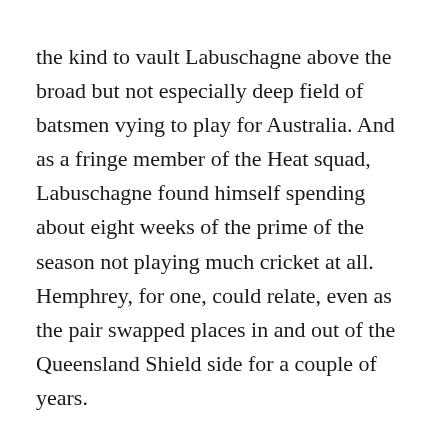the kind to vault Labuschagne above the broad but not especially deep field of batsmen vying to play for Australia. And as a fringe member of the Heat squad, Labuschagne found himself spending about eight weeks of the prime of the season not playing much cricket at all. Hemphrey, for one, could relate, even as the pair swapped places in and out of the Queensland Shield side for a couple of years.
Rather than ruminating too much on these frustrations, however, Labuschagne was finding other ways in which to grow from a boy who loved cricket, and who would frequently be distraught when dismissed, into a man who played it as part